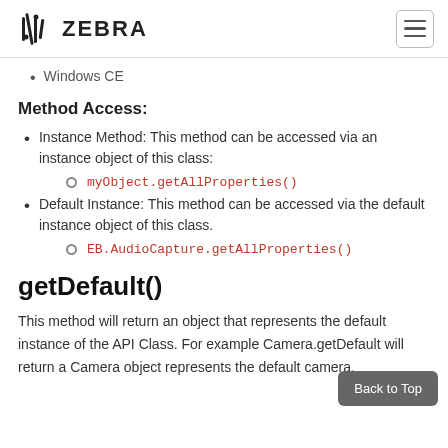ZEBRA
Windows CE
Method Access:
Instance Method: This method can be accessed via an instance object of this class:
myObject.getAllProperties()
Default Instance: This method can be accessed via the default instance object of this class.
EB.AudioCapture.getAllProperties()
getDefault()
This method will return an object that represents the default instance of the API Class. For example Camera.getDefault will return a Camera object represents the default camera.